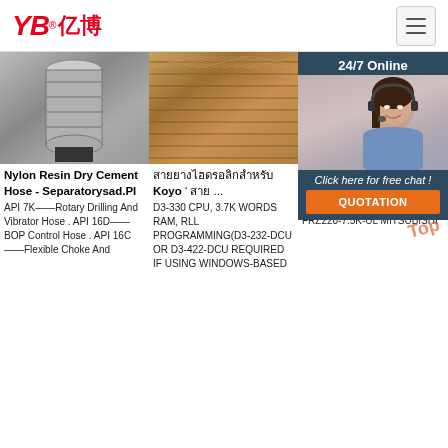YB亿博® - Navigation Header
[Figure (photo): Metal nylon resin dry cement hose fitting, cylindrical steel connector]
[Figure (photo): Braided metallic hose close-up showing woven wire mesh texture in gold/bronze color]
[Figure (photo): Customer service agent photo with 24/7 Online chat overlay and QUOTATION button]
Nylon Resin Dry Cement Hose - Separatorysad.Pl
API 7K——Rotary Drilling And Vibrator Hose . API 16D——BOP Control Hose . API 16C——Flexible Choke And
สายยางไฮดรอลิกสำหรับ Koyo ' สาย ...
D3-330 CPU, 3.7K WORDS RAM, RLL PROGRAMMING(D3-232-DCU OR D3-422-DCU REQUIRED IF USING WINDOWS-BASED
สาย Mitsubishi PLС ม
FRZ220-3.7K-UL MITSUBISHI DRIVE 10HP 230V INVERTER FRZ220-7.5K-UL MITSUBISHI